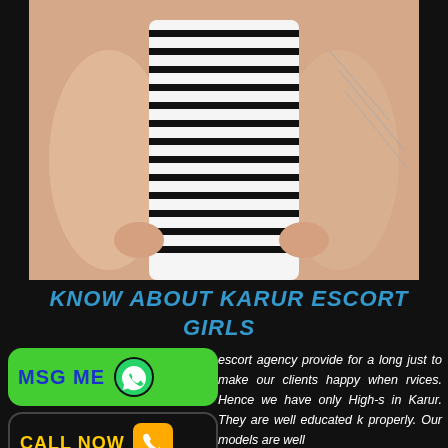[Figure (photo): Person wearing a black and white striped sleeveless dress, hands on hips, photo cropped at neck level]
KNOW ABOUT KARUR ESCORT GIRLS
[Figure (infographic): Green MSG ME button with WhatsApp icon and black CALL NOW button with yellow phone icon]
escort agency provide for a long just to make our clients happy when rvices. Hence we have only High-s in Karur. They are well educated k properly. Our models are well